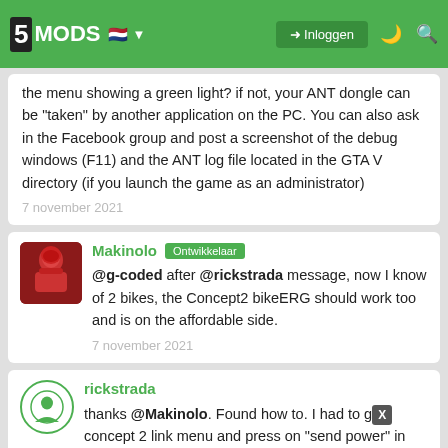5MODS | Inloggen
@rickstrada From what I've seen on the internet, the Concept 2 bikeERG should be broadcasting ANT+ FE-C profile, so it should work. Is the ANT indicator in the menu showing a green light? if not, your ANT dongle can be "taken" by another application on the PC. You can also ask in the Facebook group and post a screenshot of the debug windows (F11) and the ANT log file located in the GTA V directory (if you launch the game as an administrator)
7 november 2021
Makinolo Ontwikkelaar
@g-coded after @rickstrada message, now I know of 2 bikes, the Concept2 bikeERG should work too and is on the affordable side.
7 november 2021
rickstrada
thanks @Makinolo. Found how to. I had to g[o to] concept 2 link menu and press on "send power" in ANT Menu. Because pressing FE-C was not enough!